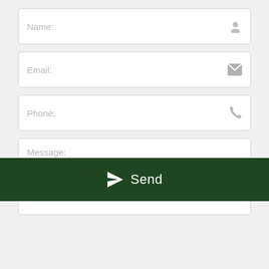[Figure (screenshot): Contact form UI with Name, Email, Phone, Message fields and a dark green Send button with paper airplane icon]
Name:
Email:
Phone:
Message:
Send